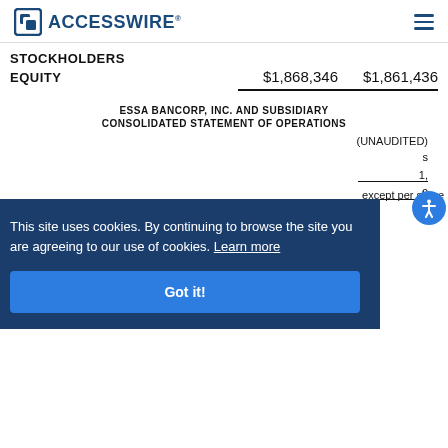ACCESSWIRE
STOCKHOLDERS EQUITY   $1,868,346  $1,861,436
ESSA BANCORP, INC. AND SUBSIDIARY
CONSOLIDATED STATEMENT OF OPERATIONS
(UNAUDITED)
s
1,
0
except per share
[Figure (screenshot): Cookie consent banner overlay with text: This site uses cookies. By continuing to browse the site you are agreeing to our use of cookies. Learn more. Got it! button.]